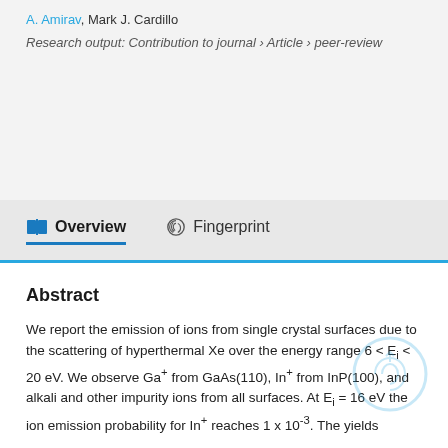A. Amirav, Mark J. Cardillo
Research output: Contribution to journal › Article › peer-review
Overview   Fingerprint
Abstract
We report the emission of ions from single crystal surfaces due to the scattering of hyperthermal Xe over the energy range 6 < Ei < 20 eV. We observe Ga+ from GaAs(110), In+ from InP(100), and alkali and other impurity ions from all surfaces. At Ei = 16 eV the ion emission probability for In+ reaches 1 x 10-3. The yields